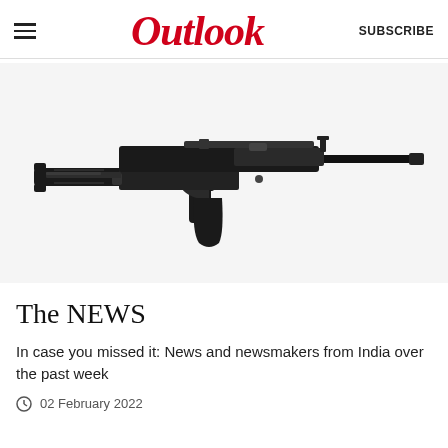Outlook  SUBSCRIBE
[Figure (photo): An AK-style assault rifle (AK-203 or similar) shown in side profile against a white/light grey background. The rifle is black with a folding stock, curved magazine, and long barrel.]
The NEWS
In case you missed it: News and newsmakers from India over the past week
02 February 2022